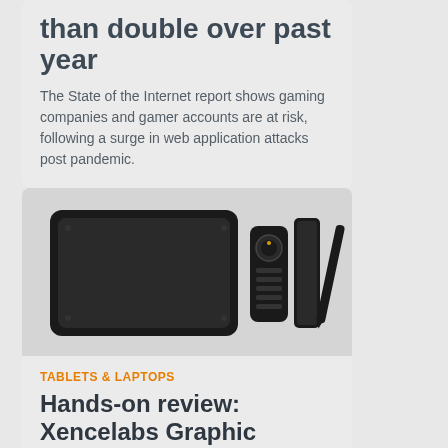than double over past year
The State of the Internet report shows gaming companies and gamer accounts are at risk, following a surge in web application attacks post pandemic.
[Figure (photo): Product photo of a Xencelabs graphic tablet set including a drawing tablet, a remote controller with dial and buttons, a pen holder, and a stylus pen, all in black.]
TABLETS & LAPTOPS
Hands-on review: Xencelabs Graphic Display Tablet